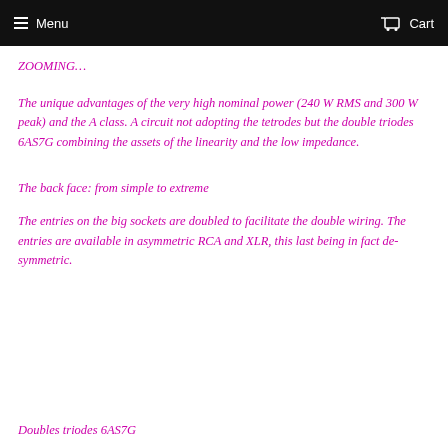Menu  Cart
ZOOMING…
The unique advantages of the very high nominal power (240 W RMS and 300 W peak) and the A class. A circuit not adopting the tetrodes but the double triodes 6AS7G combining the assets of the linearity and the low impedance.
The back face: from simple to extreme
The entries on the big sockets are doubled to facilitate the double wiring. The entries are available in asymmetric RCA and XLR, this last being in fact de-symmetric.
Doubles triodes 6AS7G